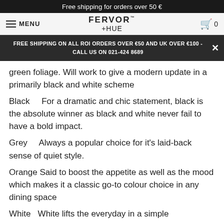Free shipping for orders over 50 €
MENU | FERVOR + HUE | 0
FREE SHIPPING ON ALL ROI ORDERS OVER €50 AND UK OVER €100 - CALL US ON 021-424 8689
green foliage. Will work to give a modern update in a primarily black and white scheme
Black     For a dramatic and chic statement, black is the absolute winner as black and white never fail to have a bold impact.
Grey     Always a popular choice for it's laid-back sense of quiet style.
Orange Said to boost the appetite as well as the mood which makes it a classic go-to colour choice in any dining space
White   White lifts the everyday in a simple